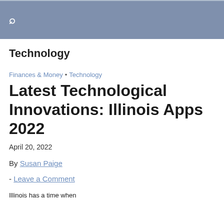🔍
Technology
Finances & Money • Technology
Latest Technological Innovations: Illinois Apps 2022
April 20, 2022
By Susan Paige
- Leave a Comment
Illinois has a time when...